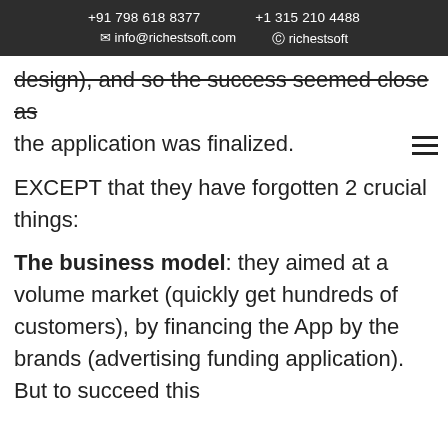+91 798 618 8377  +1 315 210 4488  info@richestsoft.com  richestsoft
design), and so the success seemed close as the application was finalized.
EXCEPT that they have forgotten 2 crucial things:
The business model: they aimed at a volume market (quickly get hundreds of customers), by financing the App by the brands (advertising funding application). But to succeed this